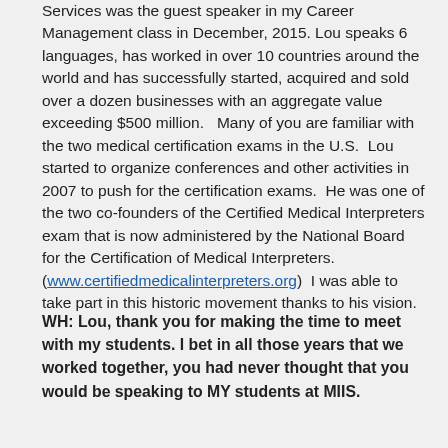Services was the guest speaker in my Career Management class in December, 2015. Lou speaks 6 languages, has worked in over 10 countries around the world and has successfully started, acquired and sold over a dozen businesses with an aggregate value exceeding $500 million.   Many of you are familiar with the two medical certification exams in the U.S.  Lou started to organize conferences and other activities in 2007 to push for the certification exams.  He was one of the two co-founders of the Certified Medical Interpreters exam that is now administered by the National Board for the Certification of Medical Interpreters. (www.certifiedmedicalinterpreters.org)  I was able to take part in this historic movement thanks to his vision.
WH: Lou, thank you for making the time to meet with my students. I bet in all those years that we worked together, you had never thought that you would be speaking to MY students at MIIS.